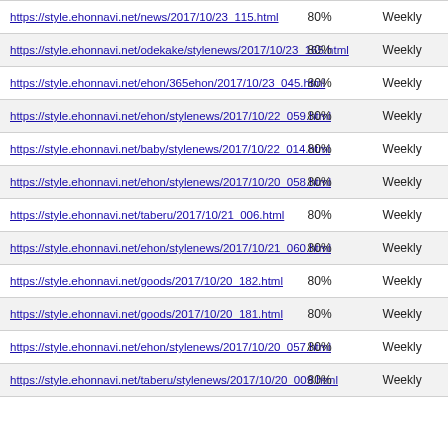| https://style.ehonnavi.net/news/2017/10/23_115.html | 80% | Weekly |
| https://style.ehonnavi.net/odekake/stylenews/2017/10/23_165.html | 80% | Weekly |
| https://style.ehonnavi.net/ehon/365ehon/2017/10/23_045.html | 80% | Weekly |
| https://style.ehonnavi.net/ehon/stylenews/2017/10/22_059.html | 80% | Weekly |
| https://style.ehonnavi.net/baby/stylenews/2017/10/22_014.html | 80% | Weekly |
| https://style.ehonnavi.net/ehon/stylenews/2017/10/20_058.html | 80% | Weekly |
| https://style.ehonnavi.net/taberu/2017/10/21_006.html | 80% | Weekly |
| https://style.ehonnavi.net/ehon/stylenews/2017/10/21_060.html | 80% | Weekly |
| https://style.ehonnavi.net/goods/2017/10/20_182.html | 80% | Weekly |
| https://style.ehonnavi.net/goods/2017/10/20_181.html | 80% | Weekly |
| https://style.ehonnavi.net/ehon/stylenews/2017/10/20_057.html | 80% | Weekly |
| https://style.ehonnavi.net/taberu/stylenews/2017/10/20_009.html | 80% | Weekly |